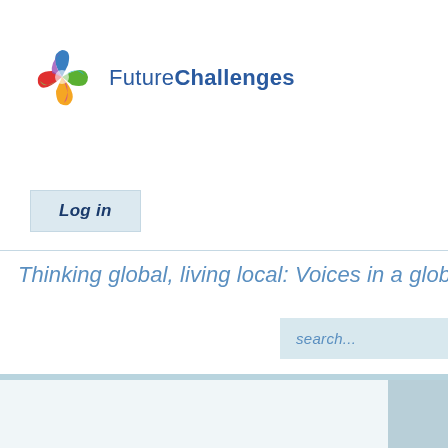[Figure (logo): FutureChallenges logo: colorful pinwheel/flower shape in blue, green, yellow, red, purple segments, followed by the brand name 'FutureChallenges' in dark blue]
Log in
Thinking global, living local: Voices in a globalized w
search...